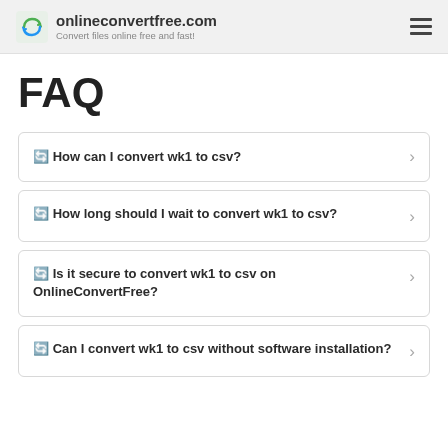onlineconvertfree.com — Convert files online free and fast!
FAQ
🔄 How can I convert wk1 to csv?
🔄 How long should I wait to convert wk1 to csv?
🔄 Is it secure to convert wk1 to csv on OnlineConvertFree?
🔄 Can I convert wk1 to csv without software installation?